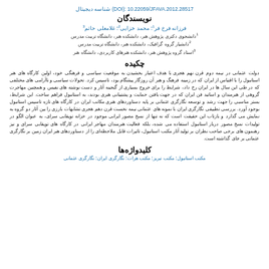شناسه دیجیتال (DOI): 10.22059/JFAVA.2012.28517
نویسندگان
فرزانه فرخ فر1؛ محمد خزایی2؛ غلامعلی حاتم3
1دانشجوی دکتری پژوهش هنر، دانشکده هنر، دانشگاه تربیت مدرس
2دانشیار گروه گرافیک، دانشکده هنر، دانشگاه تربیت مدرس
3استاد گروه پژوهش هنر، دانشکده هنرهای کاربردی، دانشگاه هنر
چکیده
دولت عثمانی در نیمه دوم قرن نهم هجری با هدف اعتبار بخشیدن به موقعیت سیاسی و فرهنگی خود، اولین کارگاه های هنر استانبول را با اقتباس از ایران که در زمینه فرهنگ و هنر آن روزگار پیشگام بود، تاسیس کرد. تحولات سیاسی و ناآرامی های مختلفی که در طی این سال ها در ایران رخ داد، شرایط را برای خروج بسیاری از گنجینه آثار و دست نوشته های نفیس و همچنین مهاجرت گروهی از هنرمندان و اساتید فن ایران که در جهت یافتن حمایت و پشتیبانی هنری بودند، به استانبول فراهم ساخت. این شرایط، بستر مناسبی را جهت رشد و توسعه نگارگری عثمانی بر پایه دستاوردهای هنری مکاتب ایران در کارگاه های تازه تاسیس استانبول بوجود آورد. بررسی تطبیقی نگارگری ایران با نمونه های عثمانی نیمه نخست قرن دهم هجری تشابهات بارزی را بین آثار دو گروه به نمایش می گذارد و بازتاب این حقیقت است که نه تنها از نسخ مصور ایرانی موجود در خزانه توپقابی سرای، به عنوان الگو در تولیدات نسخ مصور دربار استانبول استفاده می شده، بلکه فعالیت هنرمندان مهاجر ایرانی در کارگاه های توپقابی سرای و نیز رهنمون های برخی صاحب نظران بر تولید آثار مکتب استانبول، تاثیرات قابل ملاحظه‌ای را از دستاوردهای هنر ایران زمین بر نگارگری عثمانی بر جای گذاشته است.
کلیدواژه‌ها
مکتب استانبول؛ مکتب تبریز؛ مکتب هرات؛ نگارگری ایران؛ نگارگری عثمانی